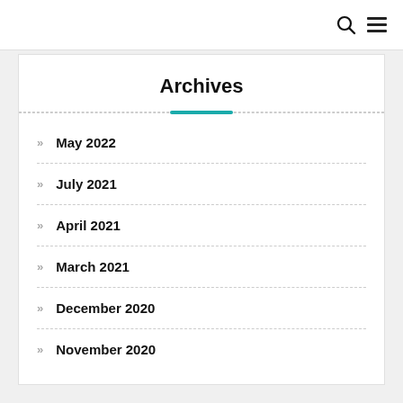search and menu icons
Archives
May 2022
July 2021
April 2021
March 2021
December 2020
November 2020